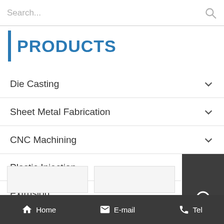Search...
PRODUCTS
Die Casting
Sheet Metal Fabrication
CNC Machining
Plastic Injection
Extrusion
Home  E-mail  Tel